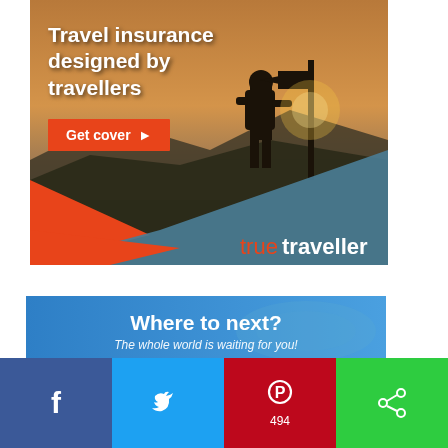[Figure (photo): Travel insurance advertisement banner. Background shows a silhouette of a backpacker hiker at sunset with a directional signpost arrow. Orange and teal geometric shapes in lower portion. Text: 'Travel insurance designed by travellers' with orange 'Get cover ►' button. Logo: 'truetraveller' in orange/white text on teal background.]
[Figure (infographic): Blue banner with white text 'Where to next?' and italic subtitle 'The whole world is waiting for you!' on a blue gradient background.]
[Figure (screenshot): Social media share bar at bottom with four buttons: Facebook (dark blue, f icon), Twitter (light blue, bird icon), Pinterest (red, P icon with count 494), and a green share button.]